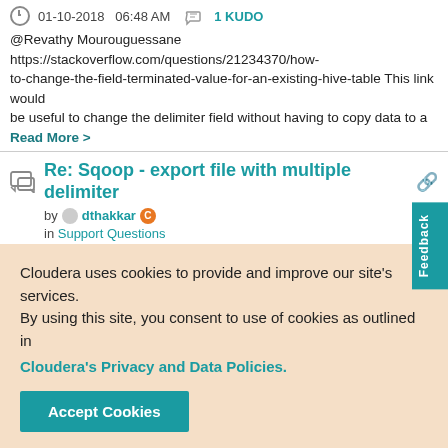01-10-2018  06:48 AM   1 KUDO
@Revathy Mourouguessane https://stackoverflow.com/questions/21234370/how-to-change-the-field-terminated-value-for-an-existing-hive-table This link would be useful to change the delimiter field without having to copy data to a  Read More >
Re: Sqoop - export file with multiple delimiter
by dthakkar in Support Questions
01-10-2018  06:48 AM
@Revathy Mourouguessane https://stackoverflow.com/questions/21234370/...to-change-the-field-terminated-value-for-an-existing-hive-table This link wo... be useful to change the delimiter field without having to copy data to a  Read M...
Cloudera uses cookies to provide and improve our site's services. By using this site, you consent to use of cookies as outlined in Cloudera's Privacy and Data Policies.
Accept Cookies